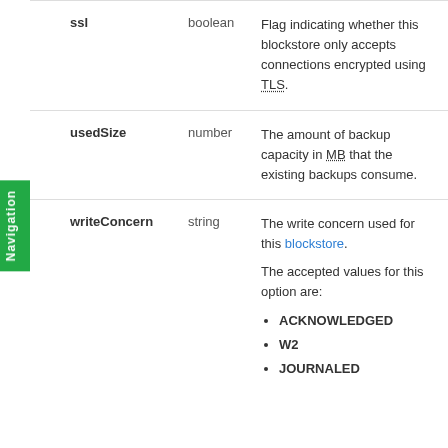| Field | Type | Description |
| --- | --- | --- |
| ssl | boolean | Flag indicating whether this blockstore only accepts connections encrypted using TLS. |
| usedSize | number | The amount of backup capacity in MB that the existing backups consume. |
| writeConcern | string | The write concern used for this blockstore.
The accepted values for this option are:
• ACKNOWLEDGED
• W2
• JOURNALED |
ACKNOWLEDGED
W2
JOURNALED